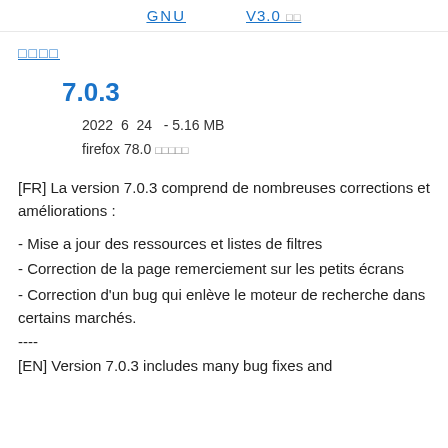GNU   V3.0 □□
□□□□
7.0.3
2022  6  24   - 5.16 MB
firefox 78.0 □□□□□
[FR] La version 7.0.3 comprend de nombreuses corrections et améliorations :
- Mise a jour des ressources et listes de filtres
- Correction de la page remerciement sur les petits écrans
- Correction d'un bug qui enlève le moteur de recherche dans certains marchés.
----
[EN] Version 7.0.3 includes many bug fixes and